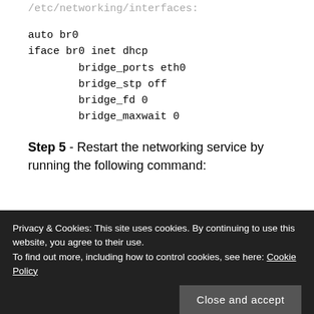/etc/networking/interfaces:
auto br0
iface br0 inet dhcp
        bridge_ports eth0
        bridge_stp off
        bridge_fd 0
        bridge_maxwait 0
Step 5 - Restart the networking service by running the following command:
Step 6 - Next, we will need to create a VT...